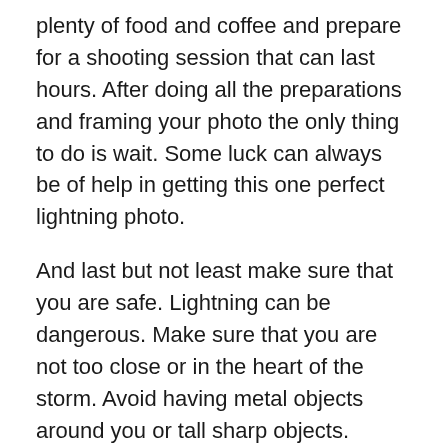plenty of food and coffee and prepare for a shooting session that can last hours. After doing all the preparations and framing your photo the only thing to do is wait. Some luck can always be of help in getting this one perfect lightning photo.
And last but not least make sure that you are safe. Lightning can be dangerous. Make sure that you are not too close or in the heart of the storm. Avoid having metal objects around you or tall sharp objects. Remember that lightning strikes the highest object that can conduct its electrical current to the ground.
In conclusion taking good lightning photos is not hard. It takes a lot of patience some know-how of camera settings and regardless of your photography level it also takes a lot